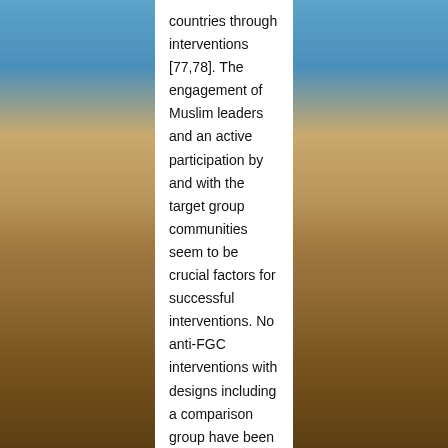[Figure (photo): Desert sand dunes with blue sky background, visible on left and right sides of the page as background image]
countries through interventions [77,78]. The engagement of Muslim leaders and an active participation by and with the target group communities seem to be crucial factors for successful interventions. No anti-FGC interventions with designs including a comparison group have been performed in a Western setting resulting in a knowledge gap regarding how to best tackle the issue of FGC in non-practising societies. However, there is reason to believe that professionals who encounter the concerned immigrant group have a